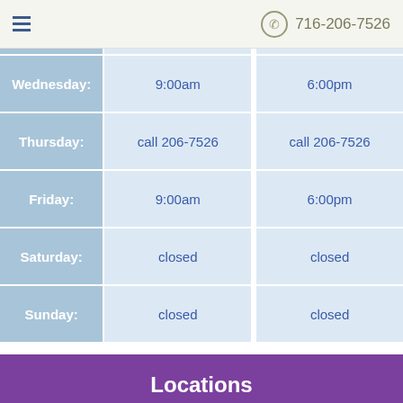716-206-7526
| Day | Open | Close |
| --- | --- | --- |
| Wednesday: | 9:00am | 6:00pm |
| Thursday: | call 206-7526 | call 206-7526 |
| Friday: | 9:00am | 6:00pm |
| Saturday: | closed | closed |
| Sunday: | closed | closed |
Locations
Find us on the map
[Figure (map): Map area with accessibility view button and zoom controls]